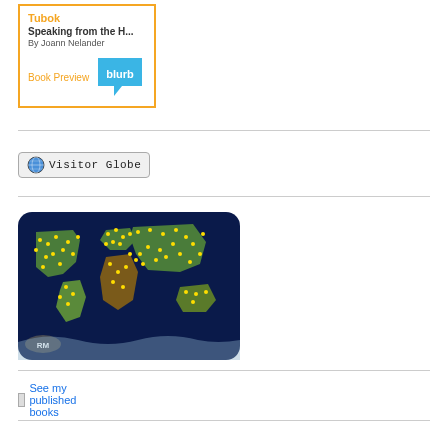[Figure (other): Book preview widget for 'Tubok: Speaking from the H...' by Joann Nelander, published via Blurb, with orange border and Book Preview link]
[Figure (other): Visitor Globe button widget with globe icon and text 'Visitor Globe']
[Figure (map): World map showing visitor locations as yellow dots on a dark blue globe background, with 'RM' watermark in lower left]
See my published books